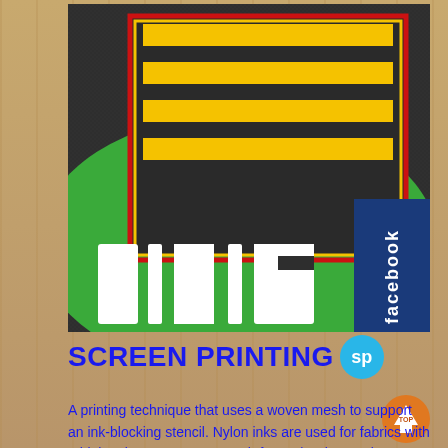[Figure (photo): Close-up photo of screen-printed fabric showing bold letters and geometric logo design with yellow, red, black, white, and green colors on dark textile. Facebook logo badge overlaid in top right corner.]
SCREEN PRINTING sp
A printing technique that uses a woven mesh to support an ink-blocking stencil. Nylon inks are used for fabrics with a high nylon content or stretch factor (such as polyester and lycra).